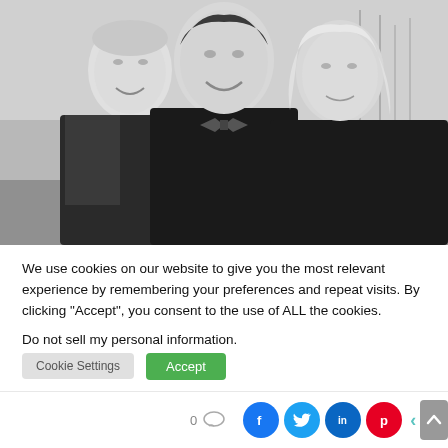[Figure (photo): Black and white photo of three people — two men and a woman — outdoors with bare trees in the background. The person on the left is a young man in a dark military-style jacket. The central person is a middle-aged man in a bow tie and dark coat. The woman on the right has blonde hair and a dark sweater.]
We use cookies on our website to give you the most relevant experience by remembering your preferences and repeat visits. By clicking “Accept”, you consent to the use of ALL the cookies.
Do not sell my personal information.